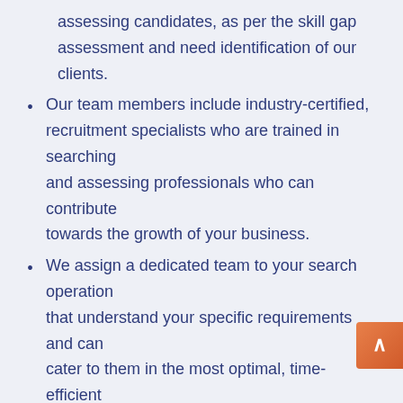assessing candidates, as per the skill gap assessment and need identification of our clients.
Our team members include industry-certified, recruitment specialists who are trained in searching and assessing professionals who can contribute towards the growth of your business.
We assign a dedicated team to your search operation that understand your specific requirements and can cater to them in the most optimal, time-efficient manner.
We use efficient processes for providing personalized service and quick turnaround to our clients.
Our in-house capabilities help us provide end-to-end